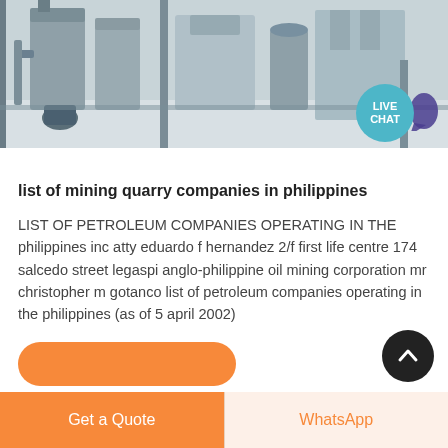[Figure (photo): Industrial machinery/plant interior with steel structures, silos, and equipment in a warehouse-like setting. A 'LIVE CHAT' bubble is overlaid in the bottom-right corner.]
list of mining quarry companies in philippines
LIST OF PETROLEUM COMPANIES OPERATING IN THE philippines inc atty eduardo f hernandez 2/f first life centre 174 salcedo street legaspi anglo-philippine oil mining corporation mr christopher m gotanco list of petroleum companies operating in the philippines (as of 5 april 2002)
[Figure (other): Partially visible orange rounded button at the bottom of the content area]
[Figure (other): Black circular scroll-to-top button with upward chevron arrow]
Get a Quote | WhatsApp